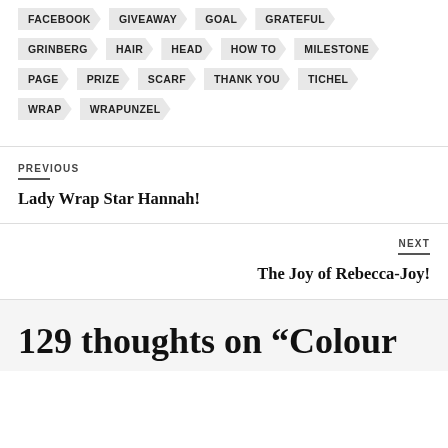FACEBOOK
GIVEAWAY
GOAL
GRATEFUL
GRINBERG
HAIR
HEAD
HOW TO
MILESTONE
PAGE
PRIZE
SCARF
THANK YOU
TICHEL
WRAP
WRAPUNZEL
PREVIOUS
Lady Wrap Star Hannah!
NEXT
The Joy of Rebecca-Joy!
129 thoughts on “Colour